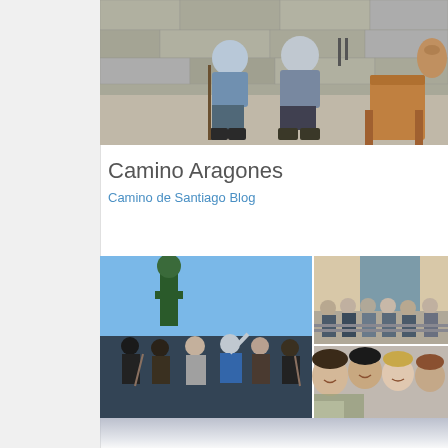[Figure (photo): Two people sitting against a stone wall, one holding a walking stick. A brown chair is visible to the right.]
Camino Aragones
Camino de Santiago Blog
[Figure (photo): Collage of pilgrim group photos: left shows group posing with a statue against blue sky, top-right shows group photo in front of a building with scaffolding, bottom-right shows group selfie photo.]